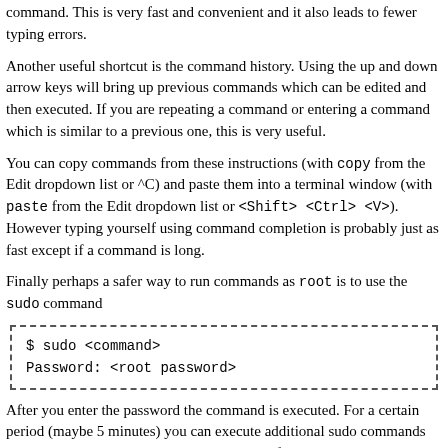command. This is very fast and convenient and it also leads to fewer typing errors.
Another useful shortcut is the command history. Using the up and down arrow keys will bring up previous commands which can be edited and then executed. If you are repeating a command or entering a command which is similar to a previous one, this is very useful.
You can copy commands from these instructions (with copy from the Edit dropdown list or ^C) and paste them into a terminal window (with paste from the Edit dropdown list or <Shift> <Ctrl> <V>). However typing yourself using command completion is probably just as fast except if a command is long.
Finally perhaps a safer way to run commands as root is to use the sudo command
$ sudo <command>
Password: <root password>
After you enter the password the command is executed. For a certain period (maybe 5 minutes) you can execute additional sudo commands without reentering <your password>. A log of all sudo